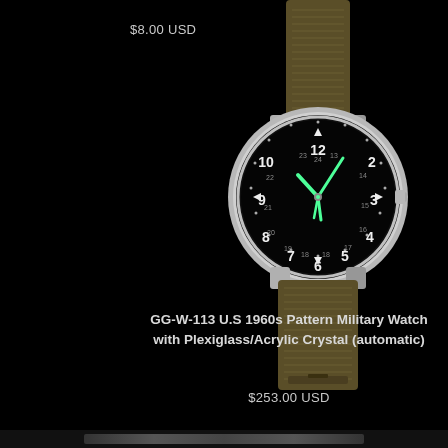$8.00 USD
[Figure (photo): Military wristwatch with black dial showing Arabic numerals and 24-hour markings, luminous green hands, silver case, on an olive/khaki NATO nylon strap]
GG-W-113 U.S 1960s Pattern Military Watch with Plexiglass/Acrylic Crystal (automatic)
$253.00 USD